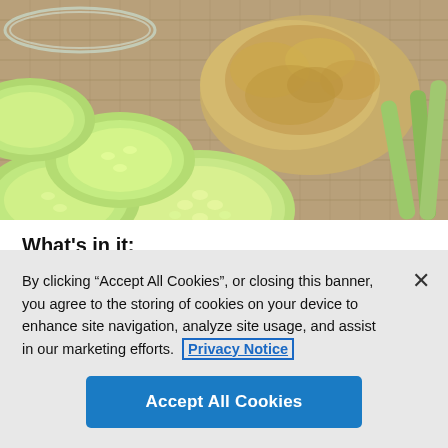[Figure (photo): Close-up photo of sliced cucumber rounds and celery sticks arranged around a mound of hummus on a burlap surface.]
What's in it:
1/4 cup lemon juice
By clicking “Accept All Cookies”, or closing this banner, you agree to the storing of cookies on your device to enhance site navigation, analyze site usage, and assist in our marketing efforts.  Privacy Notice
Accept All Cookies